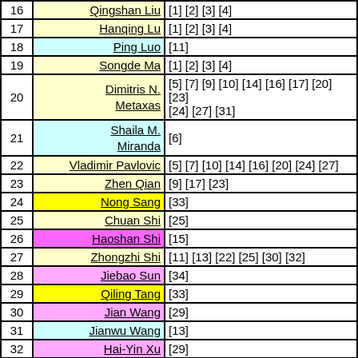| # | Name | References |
| --- | --- | --- |
| 16 | Qingshan Liu | [1] [2] [3] [4] |
| 17 | Hanqing Lu | [1] [2] [3] [4] |
| 18 | Ping Luo | [11] |
| 19 | Songde Ma | [1] [2] [3] [4] |
| 20 | Dimitris N. Metaxas | [5] [7] [9] [10] [14] [16] [17] [20] [23] [24] [27] [31] |
| 21 | Shaila M. Miranda | [6] |
| 22 | Vladimir Pavlovic | [5] [7] [10] [14] [16] [20] [24] [27] |
| 23 | Zhen Qian | [9] [17] [23] |
| 24 | Nong Sang | [33] |
| 25 | Chuan Shi | [25] |
| 26 | Haoshan Shi | [15] |
| 27 | Zhongzhi Shi | [11] [13] [22] [25] [30] [32] |
| 28 | Jiebao Sun | [34] |
| 29 | Qiling Tang | [33] |
| 30 | Jian Wang | [29] |
| 31 | Jianwu Wang | [13] |
| 32 | Hai-Yin Xu | [29] |
| 33 | Shaojun Yang | [15] |